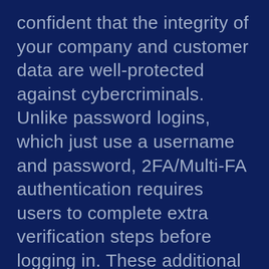confident that the integrity of your company and customer data are well-protected against cybercriminals. Unlike password logins, which just use a username and password, 2FA/Multi-FA authentication requires users to complete extra verification steps before logging in. These additional authentication measures increase security, provide access control, help meet regulatory requirements, and eliminate password risks. Contact us today to learn more about our 2FA/MFA